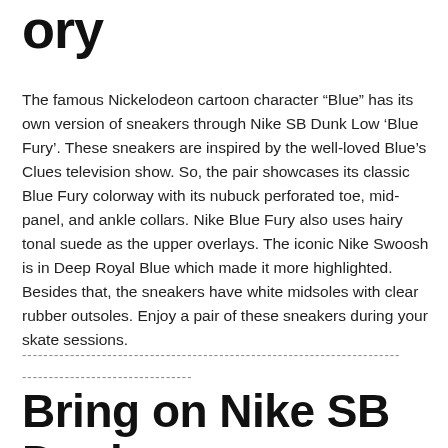ory
The famous Nickelodeon cartoon character “Blue” has its own version of sneakers through Nike SB Dunk Low ‘Blue Fury’. These sneakers are inspired by the well-loved Blue’s Clues television show. So, the pair showcases its classic Blue Fury colorway with its nubuck perforated toe, mid-panel, and ankle collars. Nike Blue Fury also uses hairy tonal suede as the upper overlays. The iconic Nike Swoosh is in Deep Royal Blue which made it more highlighted. Besides that, the sneakers have white midsoles with clear rubber outsoles. Enjoy a pair of these sneakers during your skate sessions.
-----------------------------------------------------------------------  --------------------------------
Bring on Nike SB Dunk Low ‘Blue Fury’